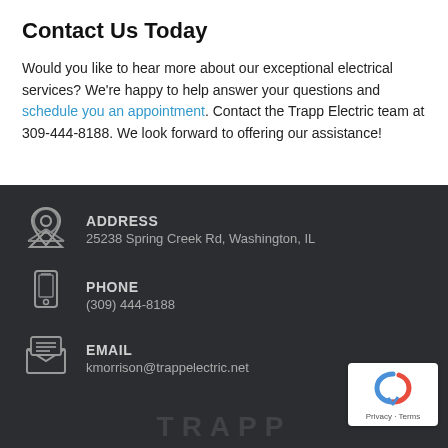Contact Us Today
Would you like to hear more about our exceptional electrical services? We're happy to help answer your questions and schedule you an appointment. Contact the Trapp Electric team at 309-444-8188. We look forward to offering our assistance!
ADDRESS
25238 Spring Creek Rd, Washington, IL
PHONE
(309) 444-8188
EMAIL
kmorrison@trappelectric.net